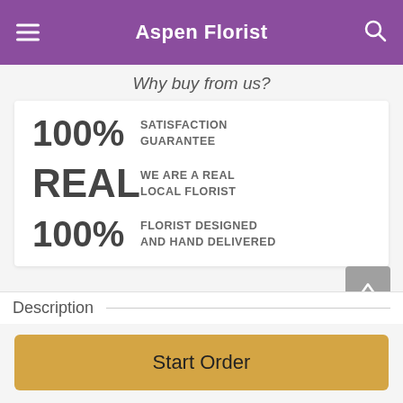Aspen Florist
Why buy from us?
100% SATISFACTION GUARANTEE
REAL WE ARE A REAL LOCAL FLORIST
100% FLORIST DESIGNED AND HAND DELIVERED
Description
Start Order